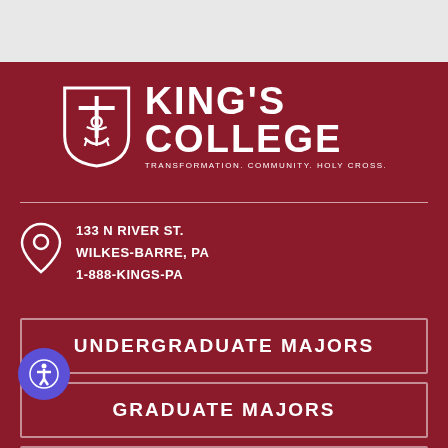[Figure (logo): King's College shield logo with cross, key and anchor symbols]
KING'S COLLEGE
TRANSFORMATION. COMMUNITY. HOLY CROSS.
133 N RIVER ST.
WILKES-BARRE, PA
1-888-KINGS-PA
UNDERGRADUATE MAJORS
GRADUATE MAJORS
CALENDARS